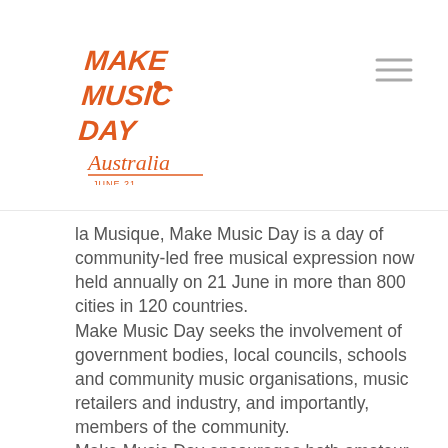[Figure (logo): Make Music Day Australia logo in orange script/handwritten style text with 'June 21' written below]
la Musique, Make Music Day is a day of community-led free musical expression now held annually on 21 June in more than 800 cities in 120 countries. Make Music Day seeks the involvement of government bodies, local councils, schools and community music organisations, music retailers and industry, and importantly, members of the community. Make Music Day encourages both amateur and professional music making, and empowers individuals to seek out ways to celebrate and express music in their community. All of it is free and open